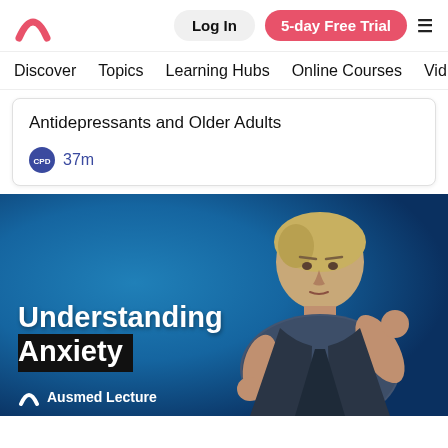Log In | 5-day Free Trial
Discover   Topics   Learning Hubs   Online Courses   Vid
Antidepressants and Older Adults
CPD 37m
[Figure (screenshot): Video thumbnail showing a woman with short blonde hair gesturing with her hands against a blue background. Text overlay reads 'Understanding Anxiety' with 'Ausmed Lecture' branding at the bottom left.]